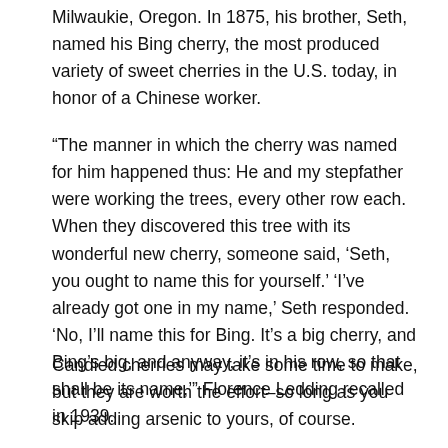Milwaukie, Oregon. In 1875, his brother, Seth, named his Bing cherry, the most produced variety of sweet cherries in the U.S. today, in honor of a Chinese worker.
“The manner in which the cherry was named for him happened thus: He and my stepfather were working the trees, every other row each. When they discovered this tree with its wonderful new cherry, someone said, ‘Seth, you ought to name this for yourself.’ ‘I’ve already got one in my name,’ Seth responded. ‘No, I’ll name this for Bing. It’s a big cherry, and Bing’s big, and anyway, it’s in his row, so that shall be its name,’” Florence Ledding recalled in 1939.
Candied cherries may take some time to make, but they are worth the effort–so long as you skip adding arsenic to yours, of course.